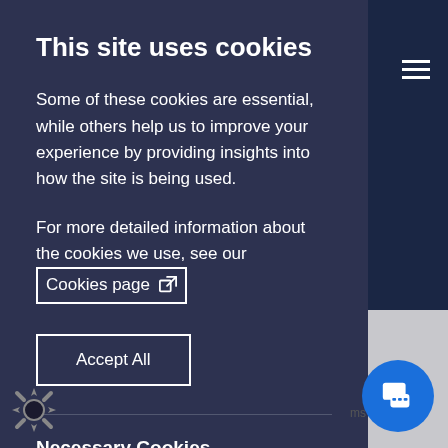This site uses cookies
Some of these cookies are essential, while others help us to improve your experience by providing insights into how the site is being used.
For more detailed information about the cookies we use, see our Cookies page
Accept All
Necessary Cookies
Necessary cookies enable core functionality. The website cannot function properly without these cookies, and can only be disabled by changing